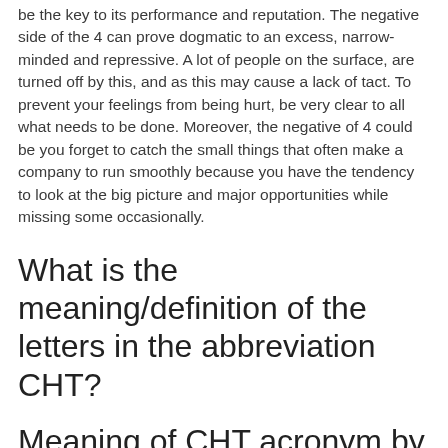be the key to its performance and reputation. The negative side of the 4 can prove dogmatic to an excess, narrow-minded and repressive. A lot of people on the surface, are turned off by this, and as this may cause a lack of tact. To prevent your feelings from being hurt, be very clear to all what needs to be done. Moreover, the negative of 4 could be you forget to catch the small things that often make a company to run smoothly because you have the tendency to look at the big picture and major opportunities while missing some occasionally.
What is the meaning/definition of the letters in the abbreviation CHT?
Meaning of CHT acronym by its letters in